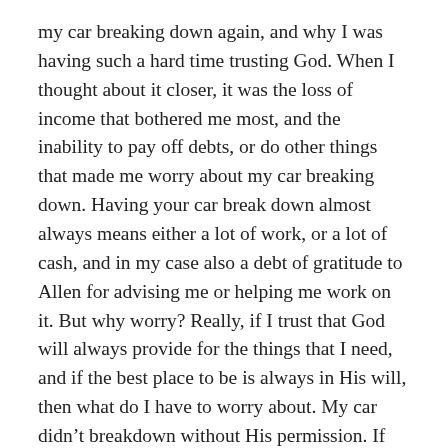my car breaking down again, and why I was having such a hard time trusting God. When I thought about it closer, it was the loss of income that bothered me most, and the inability to pay off debts, or do other things that made me worry about my car breaking down. Having your car break down almost always means either a lot of work, or a lot of cash, and in my case also a debt of gratitude to Allen for advising me or helping me work on it. But why worry? Really, if I trust that God will always provide for the things that I need, and if the best place to be is always in His will, then what do I have to worry about. My car didn't breakdown without His permission. If He wanted me to have more money, He would provide it. If He wanted my car to be trouble free, then He would provide that as well. In the end, all things happen because God allows or causes them to happen, and in either case, neither are my responsibility. I can stand back and be anxious for nothing, taking each seeming hardship as an opportunity to practice faith, prayer, and thanksgiving. Only my pride keeps me from having peace and joy. Pride makes me worry, because only when you have